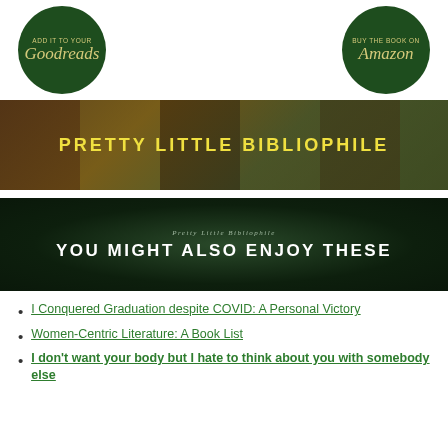[Figure (illustration): Dark green circle badge with 'ADD IT TO YOUR' in small text and 'Goodreads' in gold italic script]
[Figure (illustration): Dark green circle badge with 'BUY THE BOOK ON' in small text and 'Amazon' in gold italic script]
[Figure (illustration): Banner image with tiled photos of a woman in a library and yellow bold text 'PRETTY LITTLE BIBLIOPHILE']
[Figure (illustration): Dark green/forest banner with small italic text 'Pretty Little Bibliophile' and large bold white text 'YOU MIGHT ALSO ENJOY THESE']
I Conquered Graduation despite COVID: A Personal Victory
Women-Centric Literature: A Book List
I don't want your body but I hate to think about you with somebody else